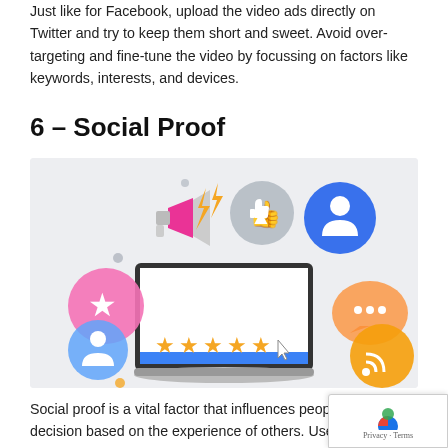Just like for Facebook, upload the video ads directly on Twitter and try to keep them short and sweet. Avoid over-targeting and fine-tune the video by focussing on factors like keywords, interests, and devices.
6 – Social Proof
[Figure (illustration): Illustration of a laptop screen showing 4.5 star rating, surrounded by social media icons including a megaphone, thumbs up, person/user icons, chat bubbles, RSS icon, and star rating elements on a light gray background.]
Social proof is a vital factor that influences people to make a decision based on the experience of others. Use this